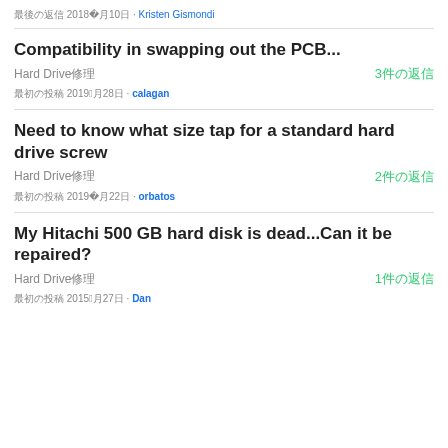最後の返信 2018年12月10日 · Kristen Gismondi
Compatibility in swapping out the PCB...
Hard Drive修理　3件の返信
最初の投稿 2019年9月28日 · calagan
Need to know what size tap for a standard hard drive screw
Hard Drive修理　2件の返信
最初の投稿 2019年10月22日 · orbatos
My Hitachi 500 GB hard disk is dead...Can it be repaired?
Hard Drive修理　1件の返信
最初の投稿 2015年2月27日 · Dan